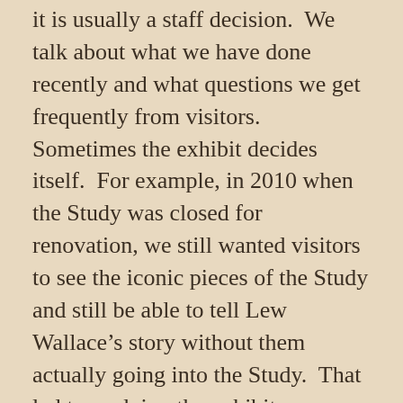it is usually a staff decision.  We talk about what we have done recently and what questions we get frequently from visitors.  Sometimes the exhibit decides itself.  For example, in 2010 when the Study was closed for renovation, we still wanted visitors to see the iconic pieces of the Study and still be able to tell Lew Wallace’s story without them actually going into the Study.  That led to us doing the exhibit “Sanctuary”.
Right now we are in the middle of the sesquicentennial of the Civil War, so last year it made sense to talk about what Lew was doing in 1862 since that was big year in the war for him.  He really didn’t do a lot as far as the Civil War goes in 1863, so we decided to take a year off from talking about the war. We wanted to focus on the rest of his family because that is something visitors frequently ask about, and we wanted to